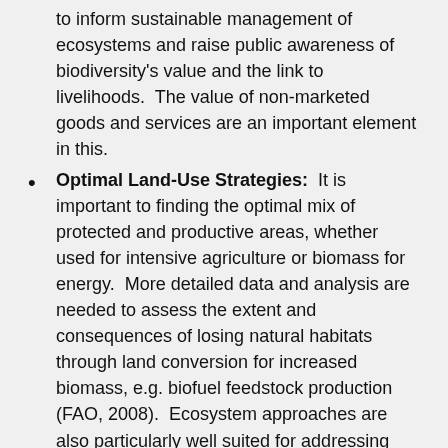to inform sustainable management of ecosystems and raise public awareness of biodiversity's value and the link to livelihoods.  The value of non-marketed goods and services are an important element in this.
Optimal Land-Use Strategies:  It is important to finding the optimal mix of protected and productive areas, whether used for intensive agriculture or biomass for energy.  More detailed data and analysis are needed to assess the extent and consequences of losing natural habitats through land conversion for increased biomass, e.g. biofuel feedstock production (FAO, 2008).  Ecosystem approaches are also particularly well suited for addressing competing land-use issues in a systematic and holistic framework, even in the absence of economic valuations, and they have considerable potential as an integrated management tool (Hicks et al., 2008).
Sustainable Management Indicators:  More knowledge on sustainable management indicators is required along the lines of the pan-European indicators